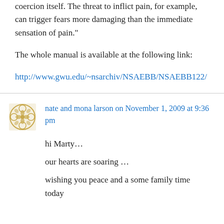coercion itself. The threat to inflict pain, for example, can trigger fears more damaging than the immediate sensation of pain."
The whole manual is available at the following link:
http://www.gwu.edu/~nsarchiv/NSAEBB/NSAEBB122/
nate and mona larson on November 1, 2009 at 9:36 pm
hi Marty…
our hearts are soaring …
wishing you peace and a some family time today